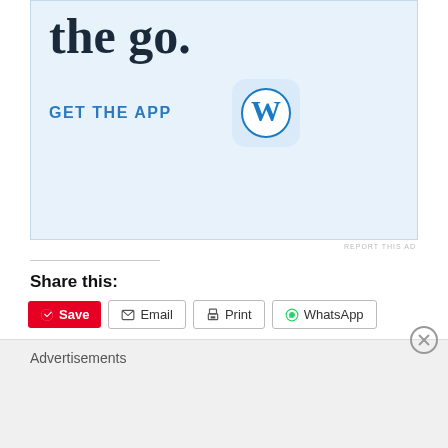[Figure (screenshot): WordPress app advertisement banner with 'the go.' heading, 'GET THE APP' link, and WordPress logo icon on light blue background]
REPORT THIS AD
Share this:
Save  Email  Print  WhatsApp
[Figure (screenshot): Like button with star icon followed by 8 blogger avatar thumbnails]
8 bloggers like this.
One comment so far
Advertisements